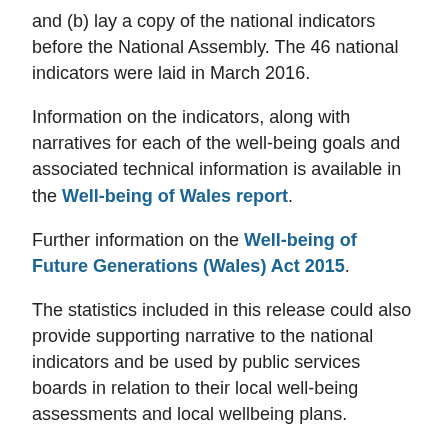and (b) lay a copy of the national indicators before the National Assembly. The 46 national indicators were laid in March 2016.
Information on the indicators, along with narratives for each of the well-being goals and associated technical information is available in the Well-being of Wales report.
Further information on the Well-being of Future Generations (Wales) Act 2015.
The statistics included in this release could also provide supporting narrative to the national indicators and be used by public services boards in relation to their local well-being assessments and local wellbeing plans.
Next update